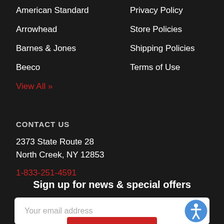American Standard
Arrowhead
Barnes & Jones
Beeco
View All »
Privacy Policy
Store Policies
Shipping Policies
Terms of Use
CONTACT US
2373 State Route 28
North Creek, NY 12853
1-833-251-4591
Sign up for news & special offers
Your email address